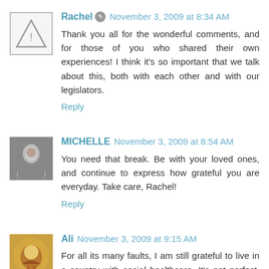Rachel · November 3, 2009 at 8:34 AM
Thank you all for the wonderful comments, and for those of you who shared their own experiences! I think it's so important that we talk about this, both with each other and with our legislators.
Reply
MICHELLE · November 3, 2009 at 8:54 AM
You need that break. Be with your loved ones, and continue to express how grateful you are everyday. Take care, Rachel!
Reply
Ali · November 3, 2009 at 9:15 AM
For all its many faults, I am still grateful to live in a country with social healthcare. It's not perfect, but at least in those hideously stressful moments, finance is never at the forefront of your mind.